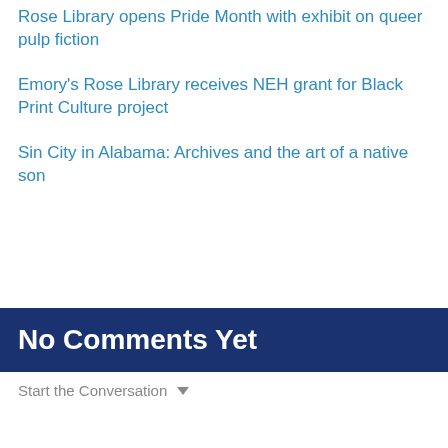Rose Library opens Pride Month with exhibit on queer pulp fiction
Emory's Rose Library receives NEH grant for Black Print Culture project
Sin City in Alabama: Archives and the art of a native son
No Comments Yet
Start the Conversation